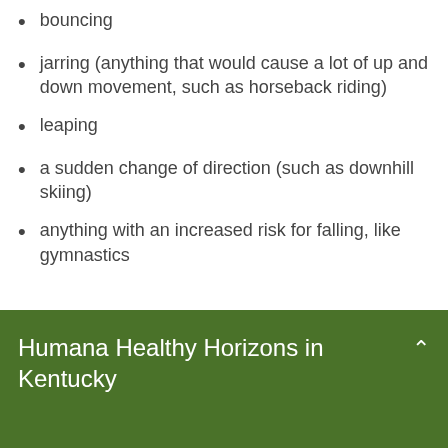bouncing
jarring (anything that would cause a lot of up and down movement, such as horseback riding)
leaping
a sudden change of direction (such as downhill skiing)
anything with an increased risk for falling, like gymnastics
Humana Healthy Horizons in Kentucky